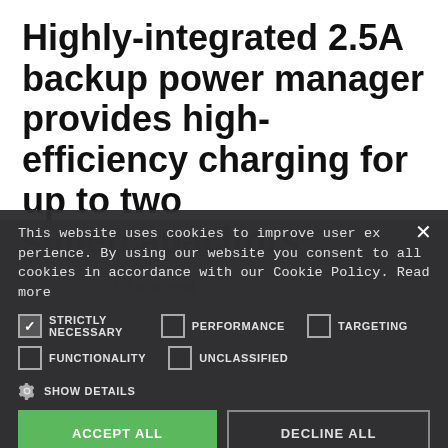Highly-integrated 2.5A backup power manager provides high-efficiency charging for up to two supercapacitors
Product | 1 min read
This website uses cookies to improve user experience. By using our website you consent to all cookies in accordance with our Cookie Policy. Read more
STRICTLY NECESSARY | PERFORMANCE | TARGETING | FUNCTIONALITY | UNCLASSIFIED
SHOW DETAILS
ACCEPT ALL | DECLINE ALL